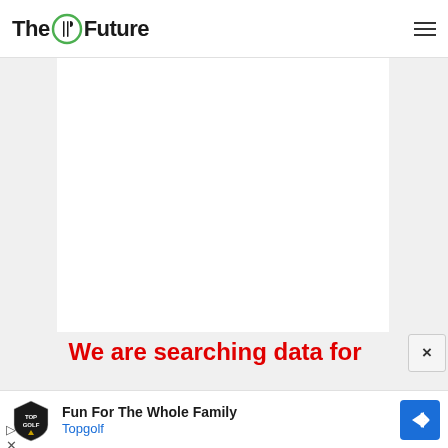The Future
[Figure (screenshot): White rectangular content box placeholder on light gray background]
We are searching data for
[Figure (infographic): Advertisement banner: Fun For The Whole Family - Topgolf, with Topgolf shield logo and blue navigation arrow icon]